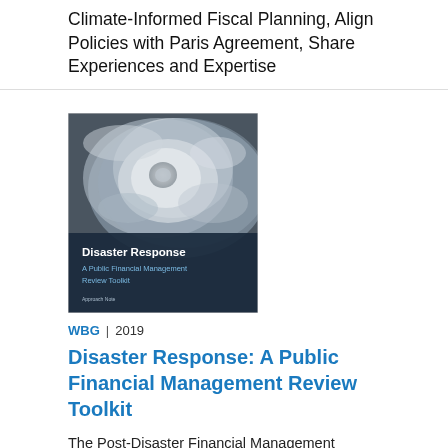Climate-Informed Fiscal Planning, Align Policies with Paris Agreement, Share Experiences and Expertise
[Figure (photo): Book cover of 'Disaster Response: A Public Financial Management Review Toolkit'. Shows a satellite image of a hurricane with dark blue overlay at the bottom containing the title text. Published November 2019.]
WBG  |  2019
Disaster Response: A Public Financial Management Review Toolkit
The Post-Disaster Financial Management Review and Engagement Framework (PD-PFM Review) is an analytical instrument that seeks to help countries build resilient, responsive public financial management (PFM) systems by pinpointing critical PFM policies